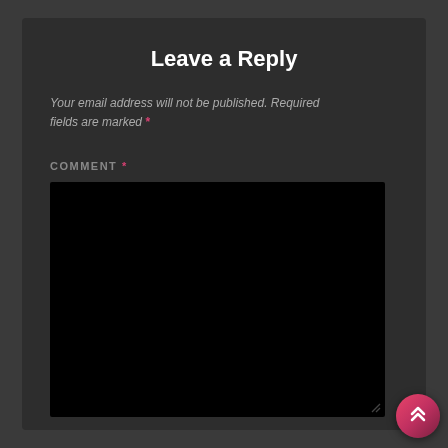Leave a Reply
Your email address will not be published. Required fields are marked *
COMMENT *
[Figure (other): Black textarea comment input box with resize handle in bottom right corner]
[Figure (other): Pink/red circular scroll-to-top button with double chevron up arrows]